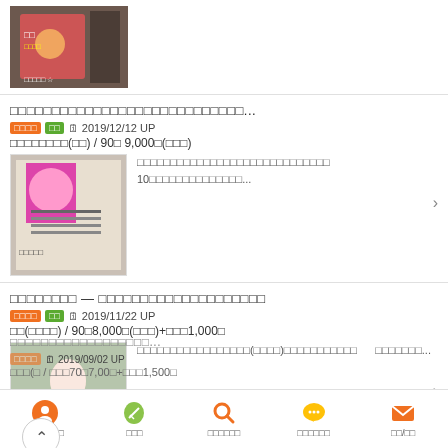[Figure (photo): Small thumbnail image at top, appears to be a movie or event poster with Asian text, person, and decorative elements]
□□□□□□□□□□□□□□□□□□□□□□□□□□□□...
□□□□ □□ 🗓 2019/12/12 UP
□□□□□□□□(□□) / 90□ 9,000□(□□□)
[Figure (photo): Thumbnail of an advertisement/poster with a person on a sign outside a building]
□□□□□□□□□□□□□□□□□□□□□□□□□□□□□ 10□□□□□□□□□□□□□□...
□□□□□□□□ — □□□□□□□□□□□□□□□□□□□□
□□□□ □□ 🗓 2019/11/22 UP
□□(□□□□) / 90□8,000□(□□□)+□□□1,000□
[Figure (photo): Thumbnail photo of a young woman in pink dress standing in what appears to be a restaurant or cafe]
□□□□□□□□□□□□□□□□□(□□□□)□□□□□□□□□□□ □□□□□□□...
□□□□□□□□□□□□□□□□□□...
□□□□ □□ 🗓 2019/09/02 UP
□□□(□ / □□□70□7,00□+□□□1,500□
□□□□□□□ □□□ □□□□□□ □□□□□□ □□/□□